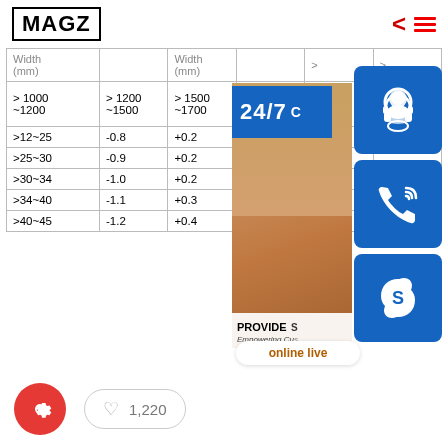MAGZ
|  |  | (mm) |  |  |  |
| --- | --- | --- | --- | --- | --- |
| > 1000 ~1200 | > 1200 ~1500 | > 1500 ~1700 | > 1700 ~1800 | >... | ~... |
| >12~25 | -0.8 | +0.2 | +0.2 | +... |  |
| >25~30 | -0.9 | +0.2 | +0.2 | +... |  |
| >30~34 | -1.0 | +0.2 | +0.3 | +... |  |
| >34~40 | -1.1 | +0.3 | +0.4 | +... |  |
| >40~45 | -1.2 | +0.4 | +0.5 | +0.6 | +0.7 | +0.8 |
[Figure (infographic): Customer service overlay with 24/7 support banner, headset icon, phone icon, Skype icon, person photo, PROVIDE text, Empowering Customers tagline, and online live button]